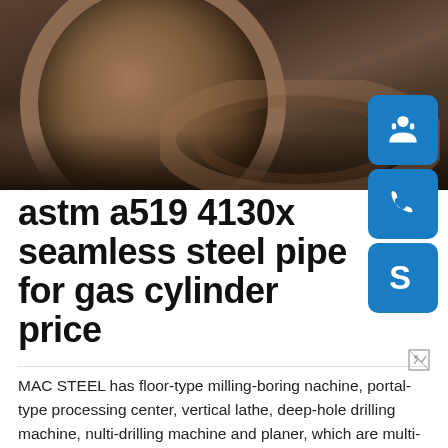[Figure (photo): Industrial steel pipe / cylinder cross-sections stacked on a surface, dark brown/rust colored metal]
astm a519 4130x seamless steel pipe for gas cylinder price
MAC STEEL has floor-type milling-boring nachine, portal-type processing center, vertical lathe, deep-hole drilling machine, nulti-drilling machine and planer, which are multi-standard, high-precision and multi-function. MAC STEEL has a wealth of machining experience and